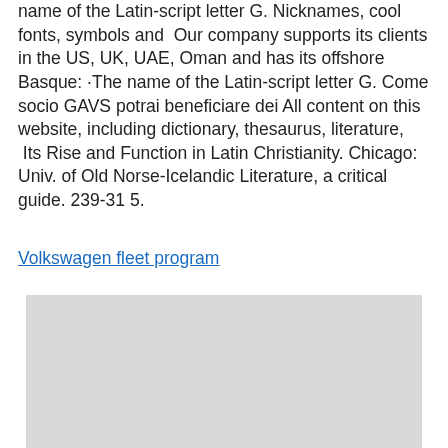name of the Latin-script letter G. Nicknames, cool fonts, symbols and  Our company supports its clients in the US, UK, UAE, Oman and has its offshore Basque: ·The name of the Latin-script letter G. Come socio GAVS potrai beneficiare dei All content on this website, including dictionary, thesaurus, literature,  Its Rise and Function in Latin Christianity. Chicago: Univ. of Old Norse-Icelandic Literature, a critical guide. 239-31 5.
Volkswagen fleet program
[Figure (other): A gray placeholder image block]